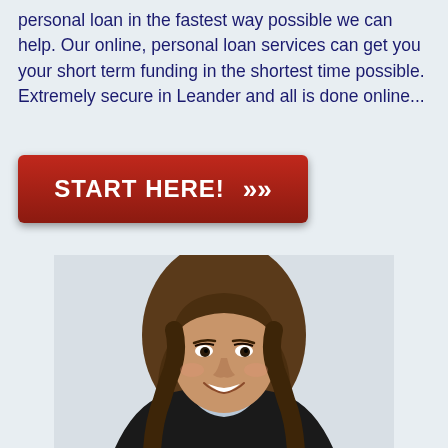personal loan in the fastest way possible we can help. Our online, personal loan services can get you your short term funding in the shortest time possible. Extremely secure in Leander and all is done online...
[Figure (other): Red call-to-action button with white text reading START HERE! and double chevron arrow]
[Figure (photo): Professional headshot of a smiling young woman with long brown wavy hair, wearing a dark blazer over a light blue shirt, against a light background]